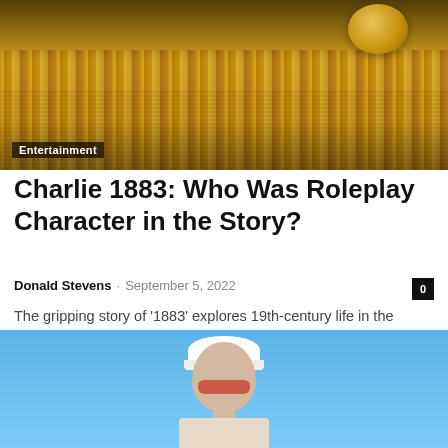[Figure (photo): Close-up of a hay bale with what appears to be a gold pocket watch or metal object on top, dark background above]
Entertainment
Charlie 1883: Who Was Roleplay Character in the Story?
Donald Stevens · September 5, 2022
The gripping story of '1883' explores 19th-century life in the American West. Each episode of the show is distinct and focuses on a different...
[Figure (photo): Young man wearing a white backwards cap and small red tinted sunglasses, photographed against a clear blue sky, wearing a floral shirt]